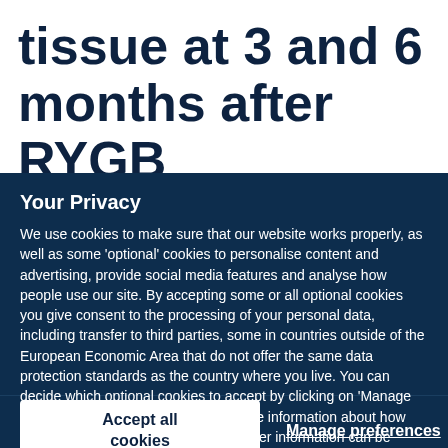tissue at 3 and 6 months after RYGB
Your Privacy
We use cookies to make sure that our website works properly, as well as some ‘optional’ cookies to personalise content and advertising, provide social media features and analyse how people use our site. By accepting some or all optional cookies you give consent to the processing of your personal data, including transfer to third parties, some in countries outside of the European Economic Area that do not offer the same data protection standards as the country where you live. You can decide which optional cookies to accept by clicking on ‘Manage Settings’, where you can also find more information about how your personal data is processed. Further information can be found in our privacy policy.
Accept all cookies
Manage preferences